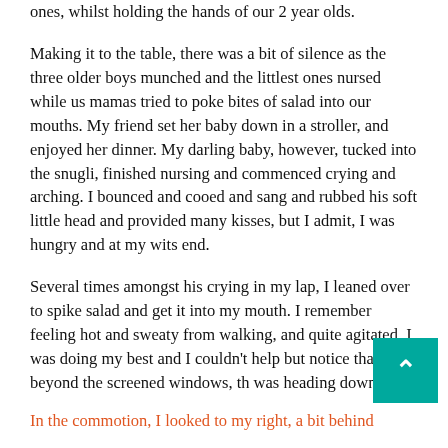ones, whilst holding the hands of our 2 year olds.
Making it to the table, there was a bit of silence as the three older boys munched and the littlest ones nursed while us mamas tried to poke bites of salad into our mouths. My friend set her baby down in a stroller, and enjoyed her dinner. My darling baby, however, tucked into the snugli, finished nursing and commenced crying and arching. I bounced and cooed and sang and rubbed his soft little head and provided many kisses, but I admit, I was hungry and at my wits end.
Several times amongst his crying in my lap, I leaned over to spike salad and get it into my mouth. I remember feeling hot and sweaty from walking, and quite agitated. I was doing my best and I couldn't help but notice that beyond the screened windows, th was heading down.
In the commotion, I looked to my right, a bit behind